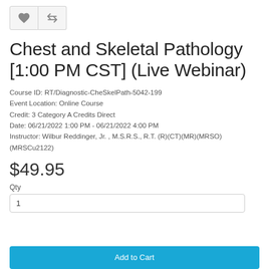[Figure (other): Two icon buttons: a heart/favorite button and a compare/transfer button, displayed side by side with light gray background and border]
Chest and Skeletal Pathology [1:00 PM CST] (Live Webinar)
Course ID: RT/Diagnostic-CheSkelPath-5042-199
Event Location: Online Course
Credit: 3 Category A Credits Direct
Date: 06/21/2022 1:00 PM - 06/21/2022 4:00 PM
Instructor: Wilbur Reddinger, Jr. , M.S.R.S., R.T. (R)(CT)(MR)(MRSO)(MRSCu2122)
$49.95
Qty
1
[Figure (other): Blue Add to Cart button at the bottom of the page]